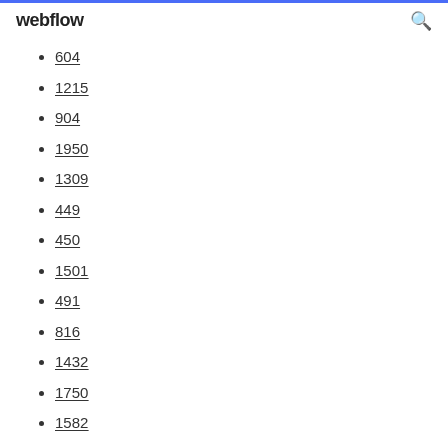webflow
604
1215
904
1950
1309
449
450
1501
491
816
1432
1750
1582